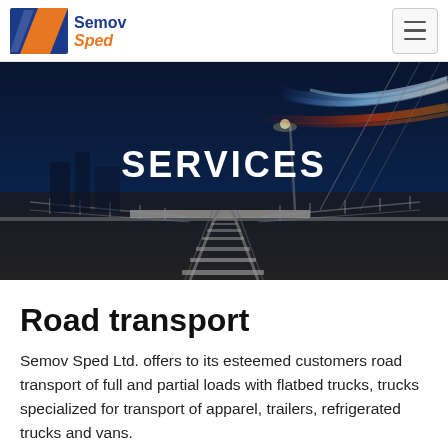[Figure (logo): SemovSped company logo with blue and orange chevron/arrow graphic and company name]
[Figure (photo): Night-time photo of railway tracks on a bridge with motion-blur light streaks (blue and red/orange) overhead, dark blue sky, city lights in background. White bold text 'SERVICES' centered over the image.]
Road transport
Semov Sped Ltd. offers to its esteemed customers road transport of full and partial loads with flatbed trucks, trucks specialized for transport of apparel, trailers, refrigerated trucks and vans.